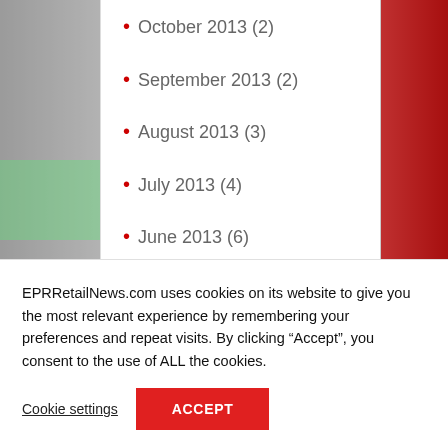October 2013 (2)
September 2013 (2)
August 2013 (3)
July 2013 (4)
June 2013 (6)
May 2013 (8)
April 2013 (6)
March 2013 (6)
EPRRetailNews.com uses cookies on its website to give you the most relevant experience by remembering your preferences and repeat visits. By clicking “Accept”, you consent to the use of ALL the cookies.
Cookie settings  ACCEPT